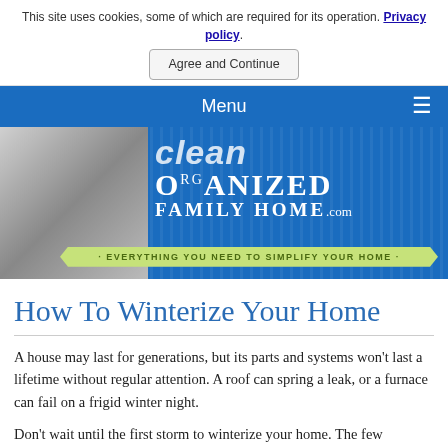This site uses cookies, some of which are required for its operation. Privacy policy.
Agree and Continue
Menu
[Figure (illustration): Clean Organized Family Home website banner with logo showing stylized text 'clean ORGANIZED FAMILY HOME.com' and tagline '· EVERYTHING YOU NEED TO SIMPLIFY YOUR HOME ·' on blue striped background with photo of mother and daughter on left]
How To Winterize Your Home
A house may last for generations, but its parts and systems won't last a lifetime without regular attention. A roof can spring a leak, or a furnace can fail on a frigid winter night.
Don't wait until the first storm to winterize your home. The few